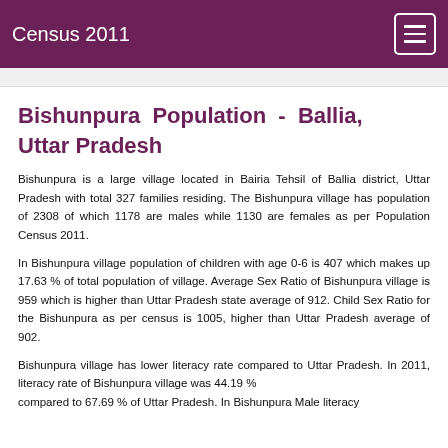Census 2011
Bishunpura Population - Ballia, Uttar Pradesh
Bishunpura is a large village located in Bairia Tehsil of Ballia district, Uttar Pradesh with total 327 families residing. The Bishunpura village has population of 2308 of which 1178 are males while 1130 are females as per Population Census 2011.
In Bishunpura village population of children with age 0-6 is 407 which makes up 17.63 % of total population of village. Average Sex Ratio of Bishunpura village is 959 which is higher than Uttar Pradesh state average of 912. Child Sex Ratio for the Bishunpura as per census is 1005, higher than Uttar Pradesh average of 902.
Bishunpura village has lower literacy rate compared to Uttar Pradesh. In 2011, literacy rate of Bishunpura village was 44.19 % compared to 67.69 % of Uttar Pradesh. In Bishunpura Male literacy...